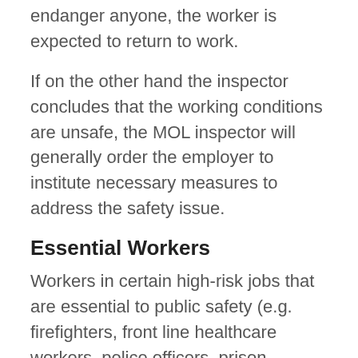endanger anyone, the worker is expected to return to work.
If on the other hand the inspector concludes that the working conditions are unsafe, the MOL inspector will generally order the employer to institute necessary measures to address the safety issue.
Essential Workers
Workers in certain high-risk jobs that are essential to public safety (e.g. firefighters, front line healthcare workers, police officers, prison employees) may have limited rights in refusing to work.
If his or her work refusal endangers someone else's safety or the risk is a normal part of the job, the employee may